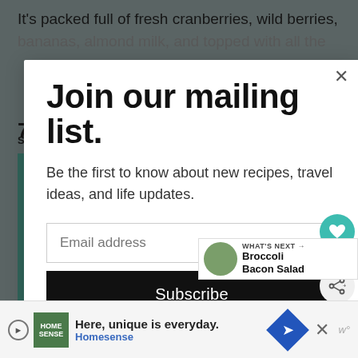It's packed full of fresh cranberries, wild berries, bananas, almond milk, and topped with all the
Join our mailing list.
Be the first to know about new recipes, travel ideas, and life updates.
Email address
Subscribe
WHAT'S NEXT → Broccoli Bacon Salad
smoothie bowls because then I can add on all the
Here, unique is everyday. Homesense
7.1K